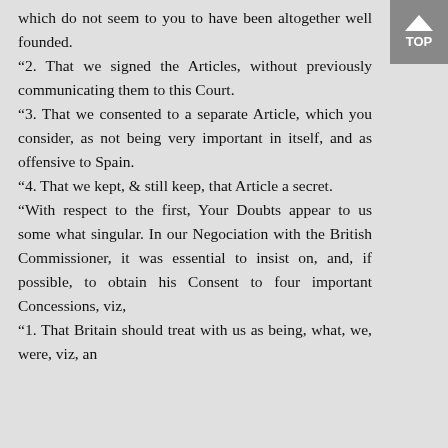which do not seem to you to have been altogether well founded. "2. That we signed the Articles, without previously communicating them to this Court. "3. That we consented to a separate Article, which you consider, as not being very important in itself, and as offensive to Spain. "4. That we kept, & still keep, that Article a secret. "With respect to the first, Your Doubts appear to us some what singular. In our Negociation with the British Commissioner, it was essential to insist on, and, if possible, to obtain his Consent to four important Concessions, viz, "1. That Britain should treat with us as being, what, we, were, viz, an
[Figure (other): TOP navigation button with upward arrow triangle, grey background]